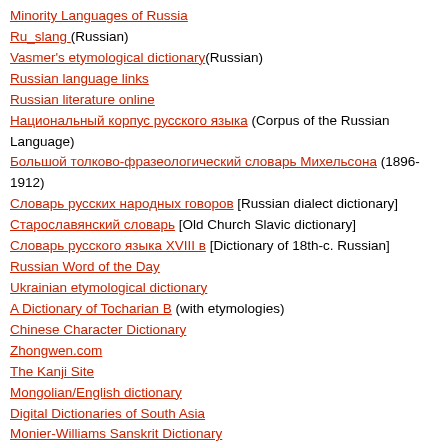Minority Languages of Russia
Ru_slang (Russian)
Vasmer's etymological dictionary(Russian)
Russian language links
Russian literature online
Национальный корпус русского языка (Corpus of the Russian Language)
Большой толково-фразеологический словарь Михельсона (1896-1912)
Словарь русских народных говоров [Russian dialect dictionary]
Старославянский словарь [Old Church Slavic dictionary]
Словарь русского языка XVIII в [Dictionary of 18th-c. Russian]
Russian Word of the Day
Ukrainian etymological dictionary
A Dictionary of Tocharian B (with etymologies)
Chinese Character Dictionary
Zhongwen.com
The Kanji Site
Mongolian/English dictionary
Digital Dictionaries of South Asia
Monier-Williams Sanskrit Dictionary